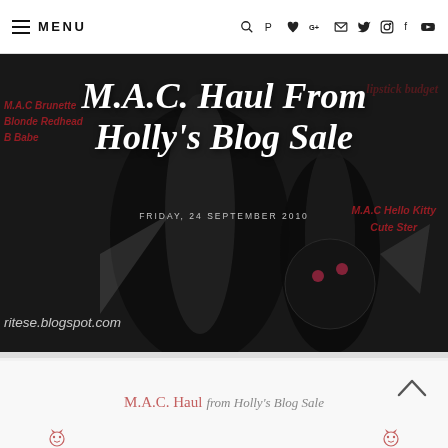MENU — navigation icons: search, pinterest, heart, google+, email, twitter, instagram, facebook, youtube
[Figure (photo): Dark cosmetics/makeup products photo overlaid with large italic white title 'M.A.C. Haul From Holly's Blog Sale', date 'FRIDAY, 24 SEPTEMBER 2010', red italic watermark text 'M.A.C Brunette Blonde Redhead B Babe' on left, 'M.A.C Hello Kitty Cute Ster' on right, and URL 'ritese.blogspot.com' at bottom left]
M.A.C. Haul From Holly's Blog Sale
FRIDAY, 24 SEPTEMBER 2010
M.A.C. Haul from Holly's Blog Sale